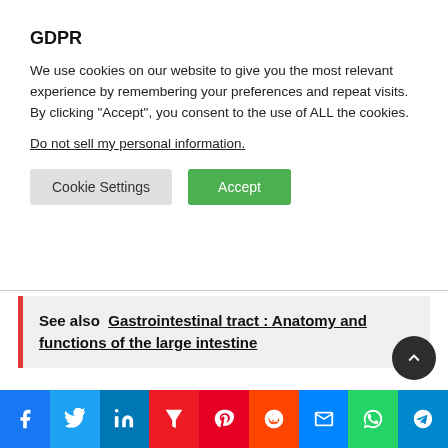GDPR
We use cookies on our website to give you the most relevant experience by remembering your preferences and repeat visits. By clicking “Accept”, you consent to the use of ALL the cookies.
Do not sell my personal information.
Cookie Settings   Accept
See also  Gastrointestinal tract : Anatomy and functions of the large intestine
Causes Of Dysdiadochokinesia
Dysdiadochokinesia is typically associated with time and age